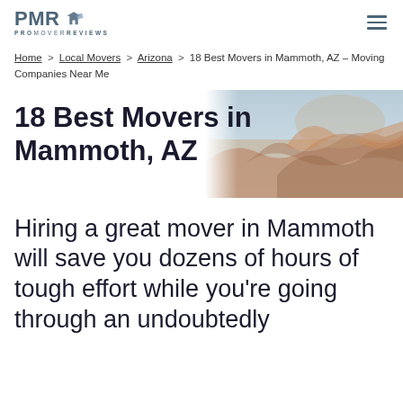PMR PROMOVERREVIEWS
Home > Local Movers > Arizona > 18 Best Movers in Mammoth, AZ – Moving Companies Near Me
18 Best Movers in Mammoth, AZ
Hiring a great mover in Mammoth will save you dozens of hours of tough effort while you're going through an undoubtedly